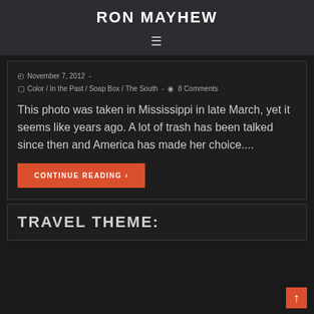RON MAYHEW
≡
November 7, 2012 -
Color / In the Past / Soap Box / The South - 8 Comments
This photo was taken in Mississippi in late March, yet it seems like years ago. A lot of trash has been talked since then and America has made her choice....
CONTINUE READING ›
TRAVEL THEME: